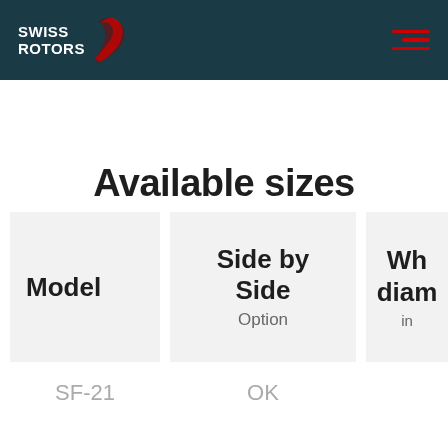[Figure (logo): Swiss Rotors logo with red swoosh and white text on dark teal header background]
Available sizes
| Model | Side by Side Option | Wh diam in |
| --- | --- | --- |
| SF-21 | OK |  |